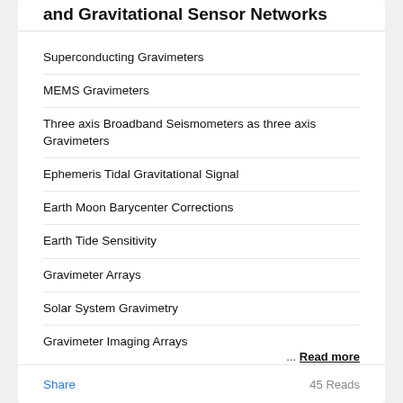and Gravitational Sensor Networks
Superconducting Gravimeters
MEMS Gravimeters
Three axis Broadband Seismometers as three axis Gravimeters
Ephemeris Tidal Gravitational Signal
Earth Moon Barycenter Corrections
Earth Tide Sensitivity
Gravimeter Arrays
Solar System Gravimetry
Gravimeter Imaging Arrays
Time of Flight Imaging
Big G Experiments
... Read more
Share   45 Reads